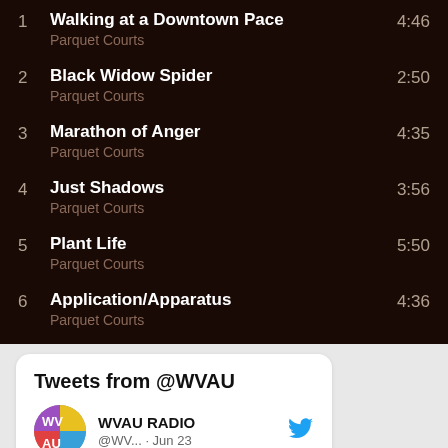1  Walking at a Downtown Pace  Parquet Courts  4:46
2  Black Widow Spider  Parquet Courts  2:50
3  Marathon of Anger  Parquet Courts  4:35
4  Just Shadows  Parquet Courts  3:56
5  Plant Life  Parquet Courts  5:50
6  Application/Apparatus  Parquet Courts  4:36
Tweets from @WVAU
WVAU RADIO @WV... · Jun 23